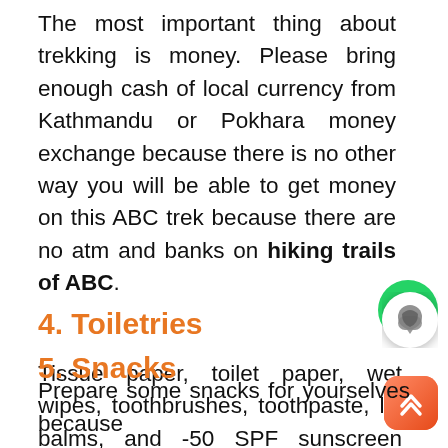The most important thing about trekking is money. Please bring enough cash of local currency from Kathmandu or Pokhara money exchange because there is no other way you will be able to get money on this ABC trek because there are no atm and banks on hiking trails of ABC.
[Figure (logo): WhatsApp logo — green circle with white phone handset icon]
4. Toiletries
Tissue paper, toilet paper, wet wipes, toothbrushes, toothpaste, lip balms, and -50 SPF sunscreen cream will be necessary for this trek.
[Figure (logo): Chat bubble icon — white circle with chat bubble graphic]
[Figure (logo): Up arrow icon — rounded orange/red rectangle with double up-arrow]
5. Snacks
Prepare some snacks for yourselves because